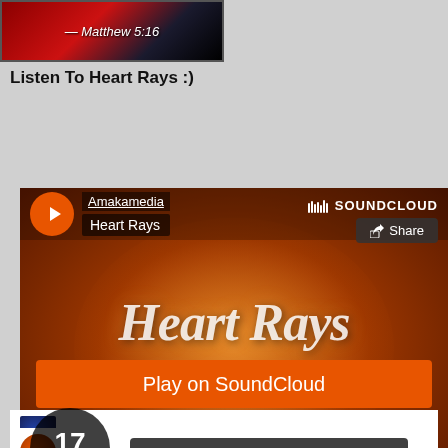[Figure (screenshot): Top image strip with text — Matthew 5:16 on dark red/black background]
Listen To Heart Rays :)
[Figure (screenshot): SoundCloud embed player for Heart Rays by Amakamedia, 17 tracks, with Play on SoundCloud and Listen in browser buttons]
Amakamedia - New Day New Grace ▶ 179
Amakamedia - Voice of Truth ▶ 898